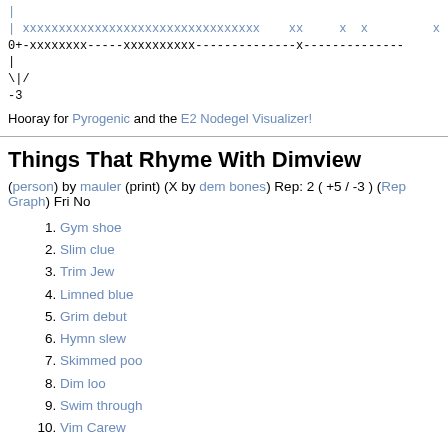[Figure (other): ASCII rep graph showing x marks and dashed lines with 0+ baseline and -3 label]
Hooray for Pyrogenic and the E2 Nodegel Visualizer!
Things That Rhyme With Dimview
(person) by mauler (print) (X by dem bones) Rep: 2 ( +5 / -3 ) (Rep Graph) Fri No
Gym shoe
Slim clue
Trim Jew
Limned blue
Grim debut
Hymn slew
Skimmed poo
Dim loo
Swim through
Vim Carew
Catbox Litter
<E2D2> I love My penis. Clockmaker correctly interpreted my penis. I like to thin